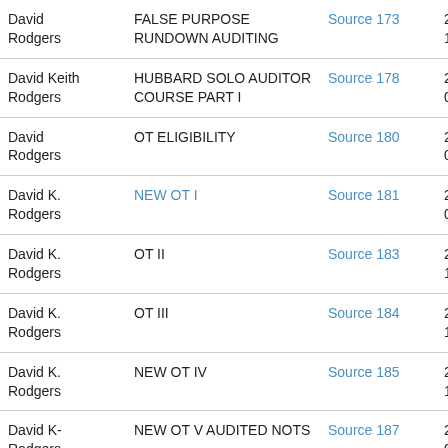| Name | Course | Source | Date |
| --- | --- | --- | --- |
| David Rodgers | FALSE PURPOSE RUNDOWN AUDITING | Source 173 | 2005-12-01 |
| David Keith Rodgers | HUBBARD SOLO AUDITOR COURSE PART I | Source 178 | 2006-05-01 |
| David Rodgers | OT ELIGIBILITY | Source 180 | 2006-07-01 |
| David K. Rodgers | NEW OT I | Source 181 | 2006-08-01 |
| David K. Rodgers | OT II | Source 183 | 2006-10-01 |
| David K. Rodgers | OT III | Source 184 | 2006-11-01 |
| David K. Rodgers | NEW OT IV | Source 185 | 2006-12-01 |
| David K- Rodgers | NEW OT V AUDITED NOTS | Source 187 | 2007-01-01 |